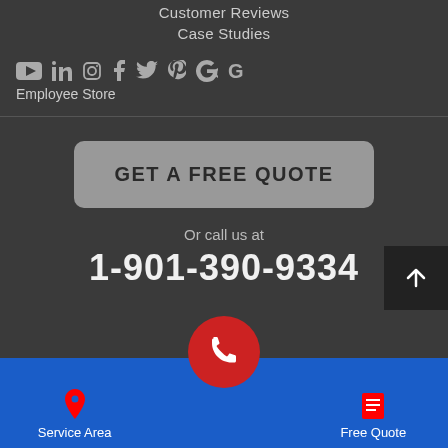Customer Reviews
Case Studies
[Figure (infographic): Social media icons: YouTube, LinkedIn, Instagram, Facebook, Twitter, Pinterest, Google, Google]
Employee Store
GET A FREE QUOTE
Or call us at
1-901-390-9334
[Figure (infographic): Phone call icon circle (red) and scroll-to-top arrow button]
Service Area
Free Quote